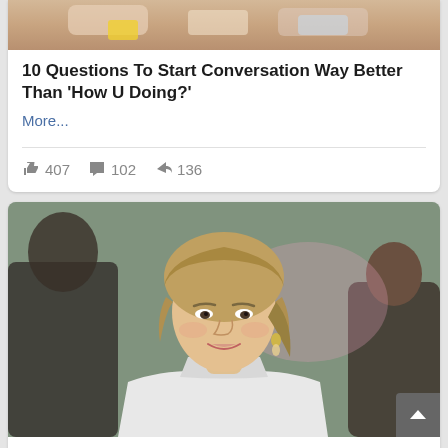[Figure (photo): Partial top of card showing hands holding items, cropped at top of page]
10 Questions To Start Conversation Way Better Than 'How U Doing?'
More...
👍 407  💬 102  ➤ 136
[Figure (photo): Portrait photo of a blonde woman smiling, wearing white jacket, with blurred crowd background — Princess Diana]
10 Most Influential Women In History